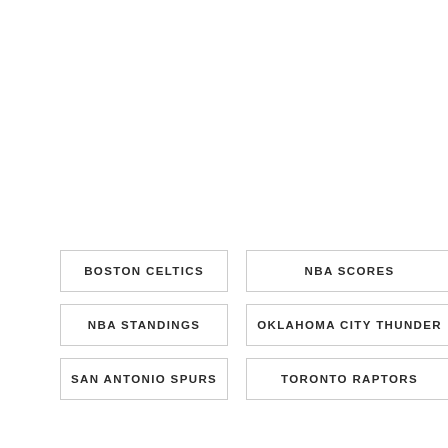BOSTON CELTICS
NBA SCORES
NBA STANDINGS
OKLAHOMA CITY THUNDER
SAN ANTONIO SPURS
TORONTO RAPTORS